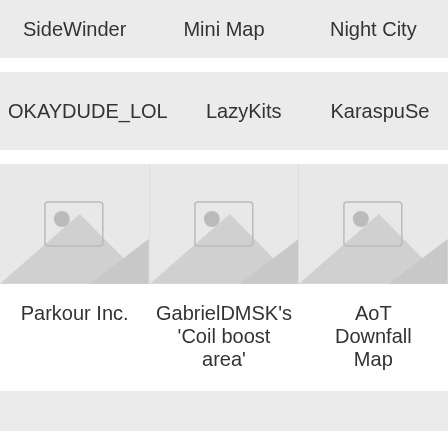| SideWinder | Mini Map | Night City |
| OKAYDUDE_LOL | LazyKits | KaraspuSe |
| [image] | [image] | [image] |
| Parkour Inc. | GabrielDMSK's 'Coil boost area' | AoT Downfall Map |
| xXH2O_DeliriuosXxBy | GabrielDMSK | By Films (Ripped by |